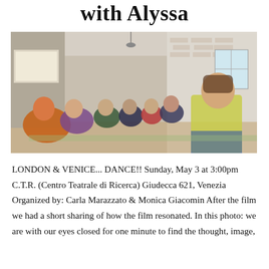with Alyssa
[Figure (photo): A group of people sitting on the floor of a large room with white brick walls, watching a projected image on the left wall. They are seated informally, some cross-legged, some with arms around each other. A man in a yellow t-shirt is prominent on the right side.]
LONDON & VENICE... DANCE!! Sunday, May 3 at 3:00pm C.T.R. (Centro Teatrale di Ricerca) Giudecca 621, Venezia Organized by: Carla Marazzato & Monica Giacomin After the film we had a short sharing of how the film resonated. In this photo: we are with our eyes closed for one minute to find the thought, image,